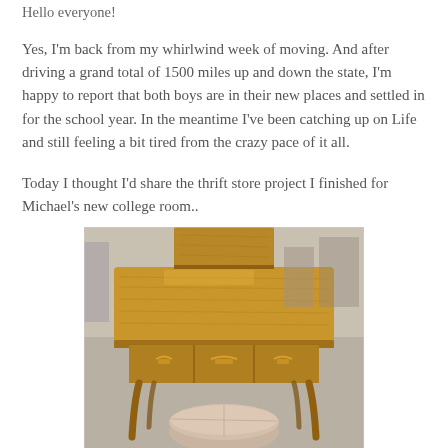Hello everyone!
Yes, I'm back from my whirlwind week of moving. And after driving a grand total of 1500 miles up and down the state, I'm happy to report that both boys are in their new places and settled in for the school year. In the meantime I've been catching up on Life and still feeling a bit tired from the crazy pace of it all.
Today I thought I'd share the thrift store project I finished for Michael's new college room..
[Figure (photo): A wooden antique-style desk with three drawers featuring brass handles, Queen Anne style curved legs, sitting on a concrete floor in what appears to be a thrift store. A round beige/pink ottoman or pouf sits underneath the desk. The desk top is a warm honey-brown wood with visible grain. In the background there are other items and shelving visible in the store.]
He needed a desk for school work and while I was in the thrift